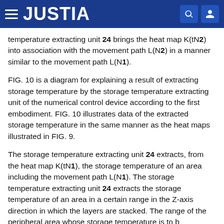JUSTIA
temperature extracting unit 24 brings the heat map K(tN2) into association with the movement path L(N2) in a manner similar to the movement path L(N1).
FIG. 10 is a diagram for explaining a result of extracting storage temperature by the storage temperature extracting unit of the numerical control device according to the first embodiment. FIG. 10 illustrates data of the extracted storage temperature in the same manner as the heat maps illustrated in FIG. 9.
The storage temperature extracting unit 24 extracts, from the heat map K(tN1), the storage temperature of an area including the movement path L(N1). The storage temperature extracting unit 24 extracts the storage temperature of an area in a certain range in the Z-axis direction in which the layers are stacked. The range of the peripheral area whose storage temperature is to b